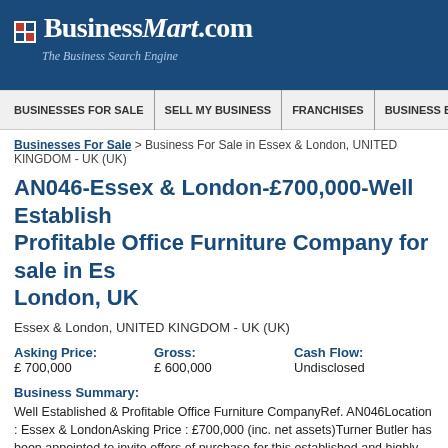[Figure (logo): BusinessMart.com logo with tagline 'The Business Search Engine' on dark blue background]
BUSINESSES FOR SALE | SELL MY BUSINESS | FRANCHISES | BUSINESS BRO
Businesses For Sale > Business For Sale in Essex & London, UNITED KINGDOM - UK (UK)
AN046-Essex & London-£700,000-Well Established & Profitable Office Furniture Company for sale in Essex & London, UK
Essex & London, UNITED KINGDOM - UK (UK)
Asking Price:
£ 700,000
Gross:
£ 600,000
Cash Flow:
Undisclosed
Business Summary:
Well Established & Profitable Office Furniture CompanyRef. AN046Location : Essex & LondonAsking Price : £700,000 (inc. net assets)Turner Butler has been appointed to invite offers of purchase for this established and highly profitable office furniture company that has an excellent customer base and established retail and website presence.Business ProfileThis business was set up by the owners 15 years ago and has developed a range of loyal customers ranging from small companies, larger corporates and over 20 schools.The business has grown predominantly through word of mouth and repeat